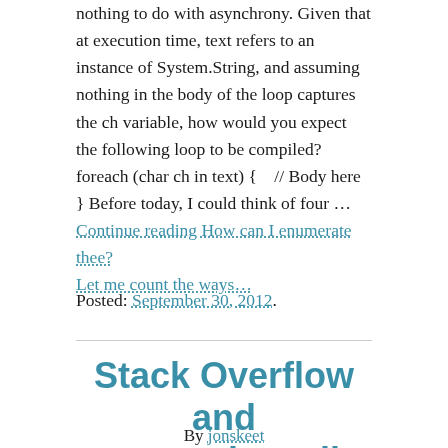nothing to do with asynchrony. Given that at execution time, text refers to an instance of System.String, and assuming nothing in the body of the loop captures the ch variable, how would you expect the following loop to be compiled? foreach (char ch in text) {    // Body here } Before today, I could think of four …
Continue reading How can I enumerate thee? Let me count the ways…
Posted: September 30, 2012.
Stack Overflow and personal emails
By jonskeet